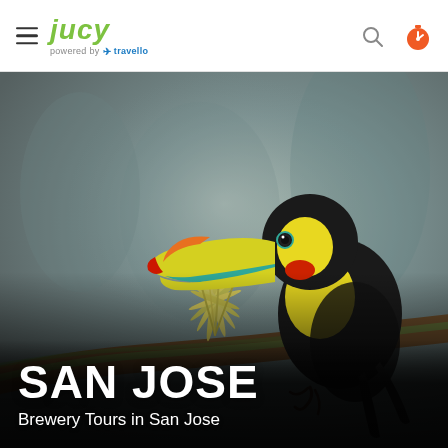JUCY powered by travello
[Figure (photo): A colorful keel-billed toucan perched on a moss-covered branch with a small bromeliad plant, set against a blurred grey-green background. The toucan has a bright yellow-green body, black wings, and a large multicolored beak with yellow, orange, red, and blue-green markings.]
SAN JOSE
Brewery Tours in San Jose